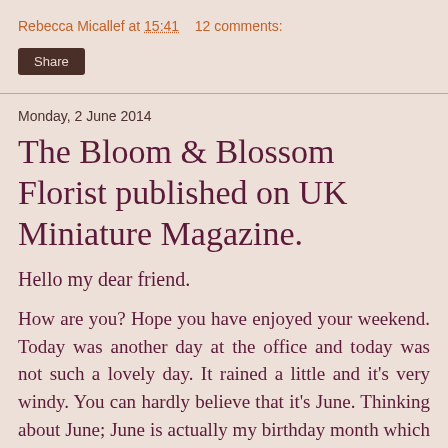Rebecca Micallef at 15:41   12 comments:
Share
Monday, 2 June 2014
The Bloom & Blossom Florist published on UK Miniature Magazine.
Hello my dear friend.
How are you? Hope you have enjoyed your weekend. Today was another day at the office and today was not such a lovely day. It rained a little and it's very windy. You can hardly believe that it's June. Thinking about June; June is actually my birthday month which brings me to a give away a little prize to the followers of my blog and my face book page.